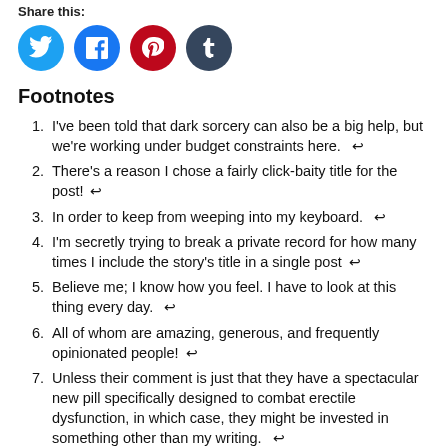Share this:
[Figure (illustration): Four social media share buttons: Twitter (blue circle), Facebook (blue circle), Pinterest (red circle), Tumblr (dark teal circle)]
Footnotes
I've been told that dark sorcery can also be a big help, but we're working under budget constraints here. ↩
There's a reason I chose a fairly click-baity title for the post! ↩
In order to keep from weeping into my keyboard. ↩
I'm secretly trying to break a private record for how many times I include the story's title in a single post ↩
Believe me; I know how you feel. I have to look at this thing every day. ↩
All of whom are amazing, generous, and frequently opinionated people! ↩
Unless their comment is just that they have a spectacular new pill specifically designed to combat erectile dysfunction, in which case, they might be invested in something other than my writing. ↩
And I'm still not convinced that it has! ↩